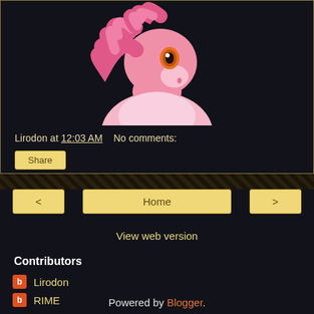[Figure (illustration): Pink cartoon pony (My Little Pony style) with curly pink hair and orange eye, shown from upper body, on dark background]
Lirodon at 12:03 AM   No comments:
Share
< Home >
View web version
Contributors
Lirodon
RIME
Powered by Blogger.